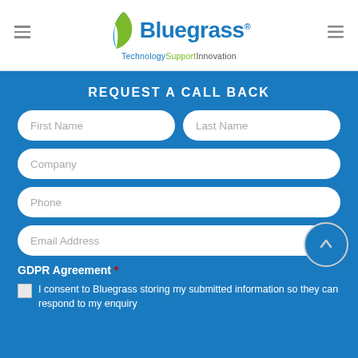[Figure (logo): Bluegrass logo with leaf icon and tagline 'Technology Support Innovation']
REQUEST A CALL BACK
First Name | Last Name | Company | Phone | Email Address form fields
GDPR Agreement *
I consent to Bluegrass storing my submitted information so they can respond to my enquiry and keep me updated about their services. You